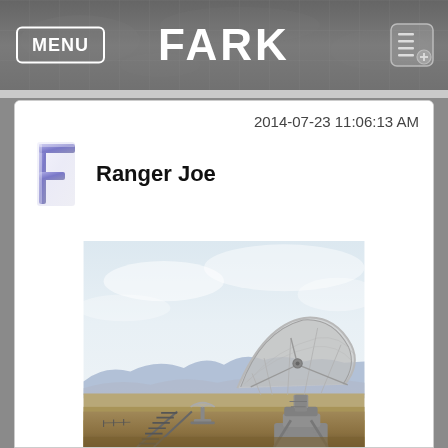FARK
2014-07-23 11:06:13 AM
Ranger Joe
[Figure (photo): Large radio telescope dish (VLA - Very Large Array) in a desert landscape with mountains in the background and railroad tracks in the foreground. A second smaller dish is visible in the distance.]